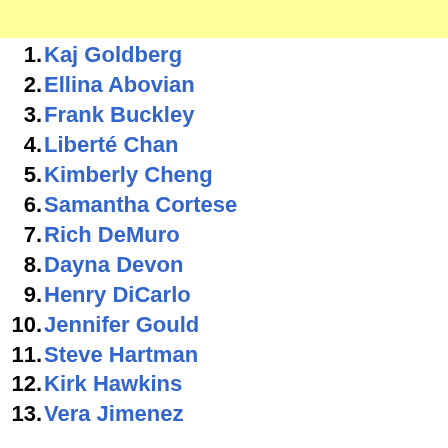1. Kaj Goldberg
2. Ellina Abovian
3. Frank Buckley
4. Liberté Chan
5. Kimberly Cheng
6. Samantha Cortese
7. Rich DeMuro
8. Dayna Devon
9. Henry DiCarlo
10. Jennifer Gould
11. Steve Hartman
12. Kirk Hawkins
13. Vera Jimenez